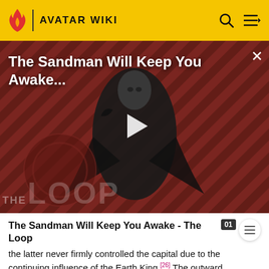AVATAR WIKI
[Figure (screenshot): Video thumbnail for 'The Sandman Will Keep You Awake - The Loop' featuring a dark figure in a black cape against a red diagonal-striped background, with THE LOOP branding and a play button overlay]
The Sandman Will Keep You Awake - The Loop
the latter never firmly controlled the capital due to the continuing influence of the Earth King.[26] The outward appearance of stability was deceiving, as Ba Sing Se was engulfed in a series of secretive wars among the Earth